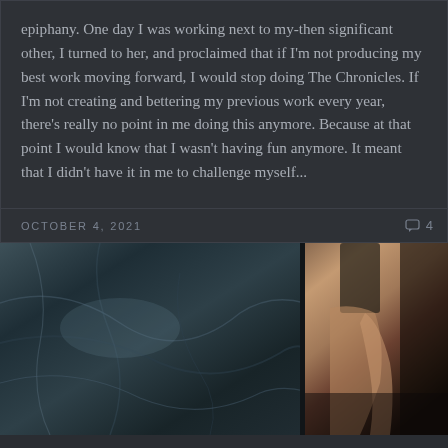epiphany. One day I was working next to my-then significant other, I turned to her, and proclaimed that if I'm not producing my best work moving forward, I would stop doing The Chronicles. If I'm not creating and bettering my previous work every year, there's really no point in me doing this anymore. Because at that point I would know that I wasn't having fun anymore. It meant that I didn't have it in me to challenge myself...
OCTOBER 4, 2021   4
[Figure (photo): Two-panel photograph: left panel shows crumpled metallic/tarp material in dark teal/grey tones; right panel shows a person in pink/tan trousers with a dark top, bending or standing near the tarp.]